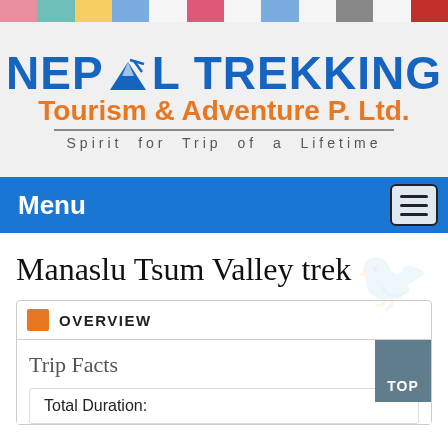[Figure (illustration): Decorative prayer flag color strip across the top of the page with colored rectangular segments: pink, teal, yellow, blue, pink, blue, dark, pink/red]
[Figure (logo): Nepal Trekking Tourism & Adventure P. Ltd. logo with mountain/ice axe icon. Blue bold text 'NEPAL TREKKING', orange text 'Tourism & Adventure P. Ltd.', gray spaced text 'Spirit for Trip of a Lifetime']
Menu
Manaslu Tsum Valley trek
OVERVIEW
Trip Facts
Total Duration: